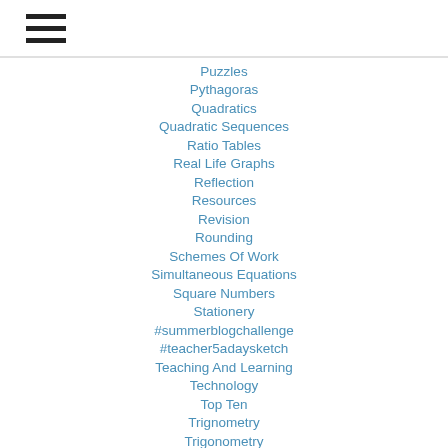Puzzles
Pythagoras
Quadratics
Quadratic Sequences
Ratio Tables
Real Life Graphs
Reflection
Resources
Revision
Rounding
Schemes Of Work
Simultaneous Equations
Square Numbers
Stationery
#summerblogchallenge
#teacher5adaysketch
Teaching And Learning
Technology
Top Ten
Trignometry
Trigonometry
Vectors
Your Di...